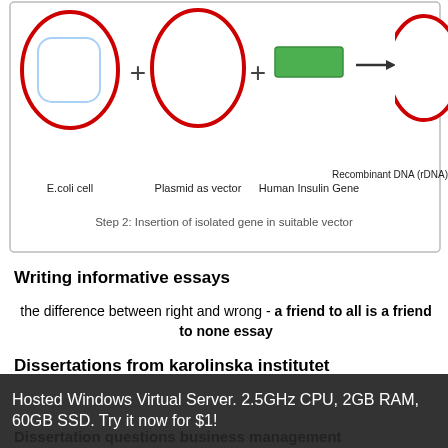[Figure (schematic): Diagram showing Step 2: Insertion of isolated gene in suitable vector. Shows E.coli cell, Plasmid as vector, Human Insulin Gene (green rectangle), a plus sign, an arrow, and Recombinant DNA (rDNA). Labels below each component. Caption at bottom: 'Step 2: Insertion of isolated gene in suitable vector']
Writing informative essays
the difference between right and wrong - a friend to all is a friend to none essay
Dissertations from karolinska institutet
pour contre jeux videos dissertation - antigone divine law vs
Hosted Windows Virtual Server. 2.5GHz CPU, 2GB RAM, 60GB SSD. Try it now for $1!
Dissertation questions business management